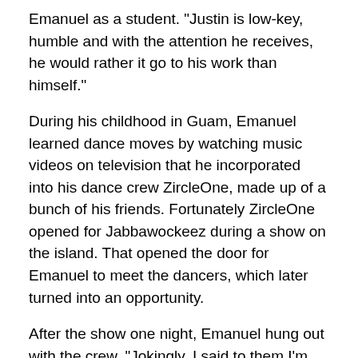Emanuel as a student. “Justin is low-key, humble and with the attention he receives, he would rather it go to his work than himself.”
During his childhood in Guam, Emanuel learned dance moves by watching music videos on television that he incorporated into his dance crew ZircleOne, made up of a bunch of his friends. Fortunately ZircleOne opened for Jabbawockeez during a show on the island. That opened the door for Emanuel to meet the dancers, which later turned into an opportunity.
After the show one night, Emanuel hung out with the crew. “Jokingly, I said to them I’m going to move to Las Vegas. If you guys ever have a show out there, we should keep in touch.”
Emanuel moved to Vegas and attended University of